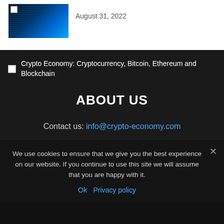[Figure (photo): Thumbnail image of a crypto/blockchain themed graphic with blue digital background]
August 31, 2022
[Figure (logo): Broken image icon for Crypto Economy website logo]
Crypto Economy: Cryptocurrency, Bitcoin, Ethereum and Blockchain
ABOUT US
Contact us: info@crypto-economy.com
We use cookies to ensure that we give you the best experience on our website. If you continue to use this site we will assume that you are happy with it.
Ok   Privacy policy